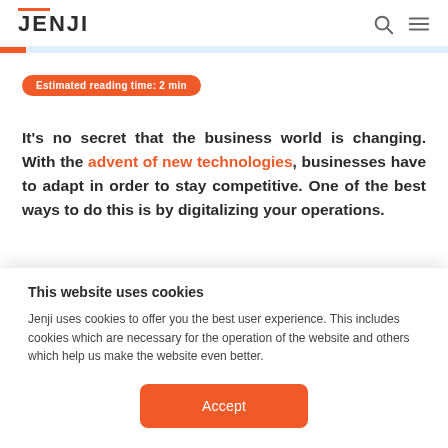JENJI
Estimated reading time: 2 min
It's no secret that the business world is changing. With the advent of new technologies, businesses have to adapt in order to stay competitive. One of the best ways to do this is by digitalizing your operations.
This website uses cookies
Jenji uses cookies to offer you the best user experience. This includes cookies which are necessary for the operation of the website and others which help us make the website even better.
Accept